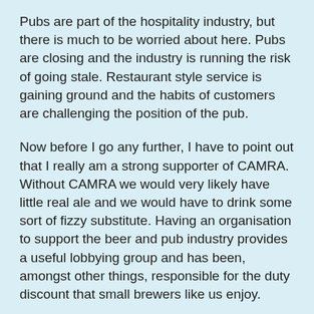Pubs are part of the hospitality industry, but there is much to be worried about here. Pubs are closing and the industry is running the risk of going stale. Restaurant style service is gaining ground and the habits of customers are challenging the position of the pub.
Now before I go any further, I have to point out that I really am a strong supporter of CAMRA. Without CAMRA we would very likely have little real ale and we would have to drink some sort of fizzy substitute. Having an organisation to support the beer and pub industry provides a useful lobbying group and has been, amongst other things, responsible for the duty discount that small brewers like us enjoy.
I know many people who are members of CAMRA and I'd like to think that some of the local branch members are friends of mine. This does not mean that I have to agree with them though. Most CAMRA members come from the perspective of the consumer, after all the organisation is a consumer group. CAMRA's main aim is to protect the rights of drinkers. It has been very successful in doing this for over